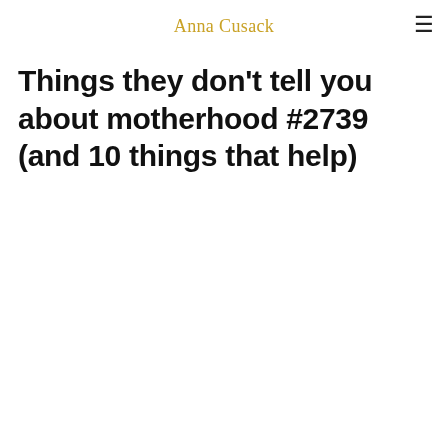Anna Cusack
Things they don't tell you about motherhood #2739 (and 10 things that help)